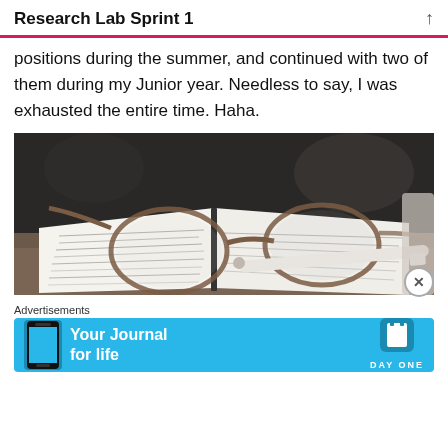Research Lab Sprint 1
positions during the summer, and continued with two of them during my Junior year. Needless to say, I was exhausted the entire time. Haha.
[Figure (photo): Photo of an open notebook with handwritten notes and a pair of glasses resting on top, on a wooden desk.]
Advertisements
[Figure (infographic): Advertisement banner for Day One app: 'Your Journal for life' on a blue background with phone image and Day One logo.]